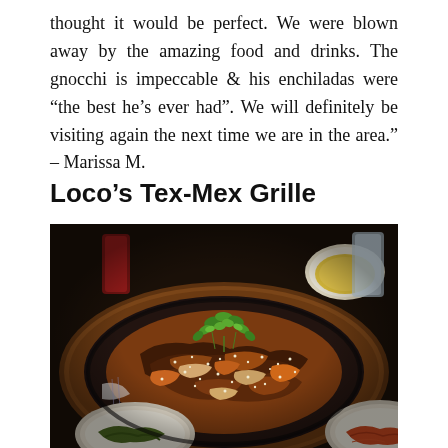thought it would be perfect. We were blown away by the amazing food and drinks. The gnocchi is impeccable & his enchiladas were “the best he’s ever had”. We will definitely be visiting again the next time we are in the area.” – Marissa M.
Loco’s Tex-Mex Grille
[Figure (photo): A sizzling platter of grilled meat slices with sesame seeds and fresh green herb garnish on a round dark cast iron plate, placed on a wooden board. Surrounding dishes include white bowls with sides and glasses in the background.]